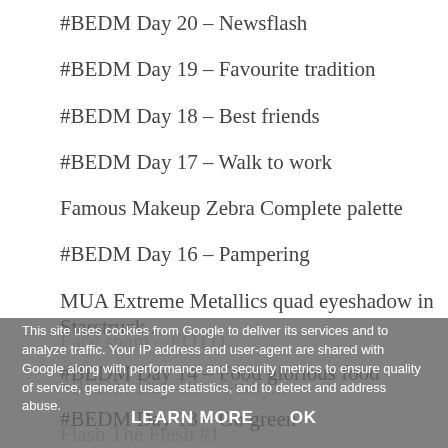#BEDM Day 20 – Newsflash
#BEDM Day 19 – Favourite tradition
#BEDM Day 18 – Best friends
#BEDM Day 17 – Walk to work
Famous Makeup Zebra Complete palette
#BEDM Day 16 – Pampering
MUA Extreme Metallics quad eyeshadow in Starstruck...
#BEDM Day 14 – Food glorious food
#BEDM Day 13 – Go green
Face spam – FOTD
#BEDM Day 10 – Guilty...
Flash The Flesh #1
Be YOU tiful
This site uses cookies from Google to deliver its services and to analyze traffic. Your IP address and user-agent are shared with Google along with performance and security metrics to ensure quality of service, generate usage statistics, and to detect and address abuse.
LEARN MORE    OK